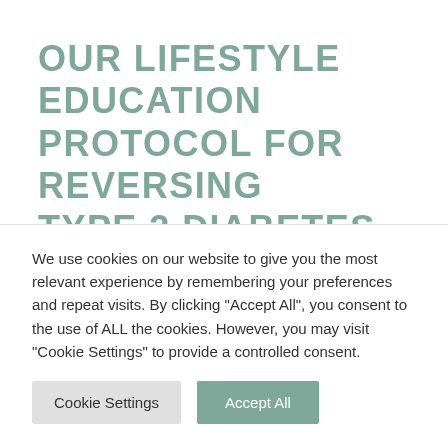OUR LIFESTYLE EDUCATION PROTOCOL FOR REVERSING TYPE 2 DIABETES
PREKURE's innovations in health coaching combined with nutritional science is
We use cookies on our website to give you the most relevant experience by remembering your preferences and repeat visits. By clicking "Accept All", you consent to the use of ALL the cookies. However, you may visit "Cookie Settings" to provide a controlled consent.